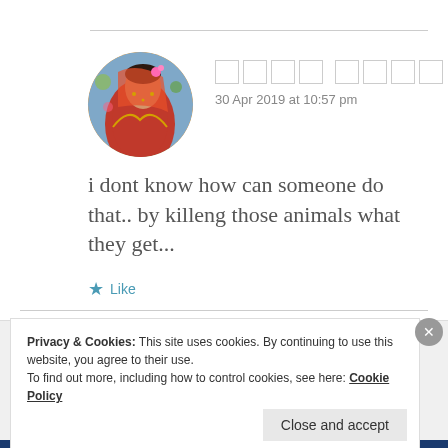[Figure (photo): Circular avatar showing a woman in traditional Indian bridal attire with colorful decorations]
30 Apr 2019 at 10:57 pm
i dont know how can someone do that.. by killeng those animals what they get...
Like
Privacy & Cookies: This site uses cookies. By continuing to use this website, you agree to their use.
To find out more, including how to control cookies, see here: Cookie Policy
Close and accept